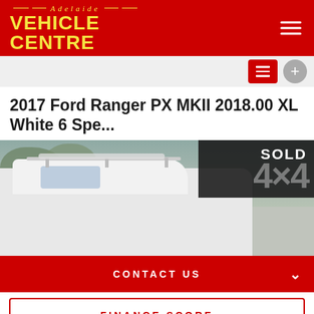Adelaide Vehicle Centre
2017 Ford Ranger PX MKII 2018.00 XL White 6 Spe...
[Figure (photo): White Ford Ranger van with roof rack, partially obscured by SOLD and 4x4 overlay badge in top-right corner]
CONTACT US
FINANCE SCORE